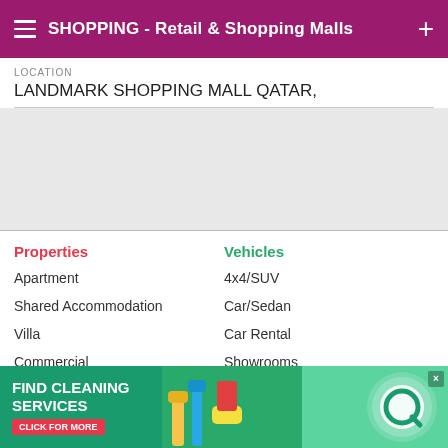SHOPPING - Retail & Shopping Malls
LOCATION
LANDMARK SHOPPING MALL QATAR,
[Figure (map): Map area placeholder, light gray background]
Properties
Apartment
Shared Accommodation
Villa
Commercial
Vehicles
4x4/SUV
Car/Sedan
Car Rental
Showrooms
Classifieds
Furniture & Decor
Electronics
Fashion
Phones
Services
Labor & Moving
Household Services
[Figure (advertisement): Ad banner: FIND CLEANING SERVICES - CLICK FOR MORE, with cleaning supplies image and logo]